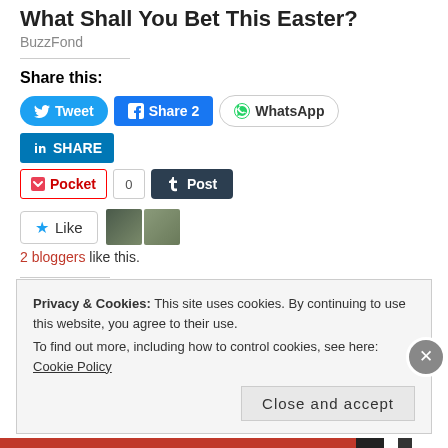What Shall You Bet This Easter?
BuzzFond
Share this:
[Figure (screenshot): Social share buttons: Tweet, Share 2, WhatsApp, SHARE (LinkedIn), Pocket with count 0, Post (Tumblr)]
[Figure (screenshot): Like button with star icon and two blogger avatar images]
2 bloggers like this.
Related
The Christianity Myth Argument – The Real
Six Reasons Why I'm Not a Christian
Privacy & Cookies: This site uses cookies. By continuing to use this website, you agree to their use. To find out more, including how to control cookies, see here: Cookie Policy
Close and accept